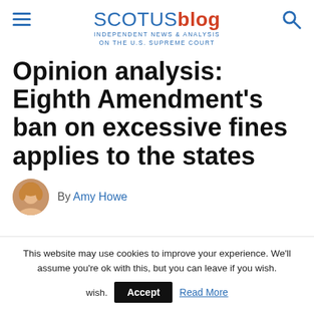SCOTUSblog — INDEPENDENT NEWS & ANALYSIS ON THE U.S. SUPREME COURT
Opinion analysis: Eighth Amendment's ban on excessive fines applies to the states
By Amy Howe
This website may use cookies to improve your experience. We'll assume you're ok with this, but you can leave if you wish.